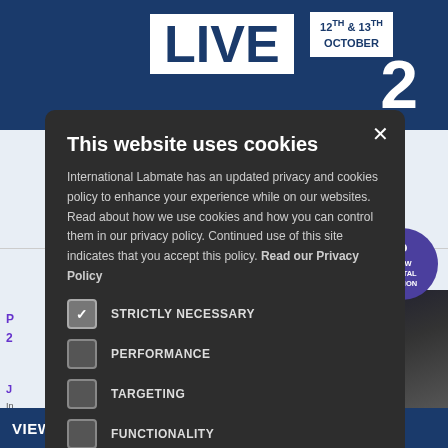[Figure (screenshot): Background website page showing LIVE event banner with '12TH & 13TH OCTOBER' date, Petro Industry News magazine cover, and 'VIEW ALL DIGITAL EDITIONS' footer bar]
This website uses cookies
International Labmate has an updated privacy and cookies policy to enhance your experience while on our websites. Read about how we use cookies and how you can control them in our privacy policy. Continued use of this site indicates that you accept this policy. Read our Privacy Policy
STRICTLY NECESSARY (checked)
PERFORMANCE
TARGETING
FUNCTIONALITY
I AGREE | DECLINE ALL
SHOW DETAILS
VIEW ALL DIGITAL EDITIONS